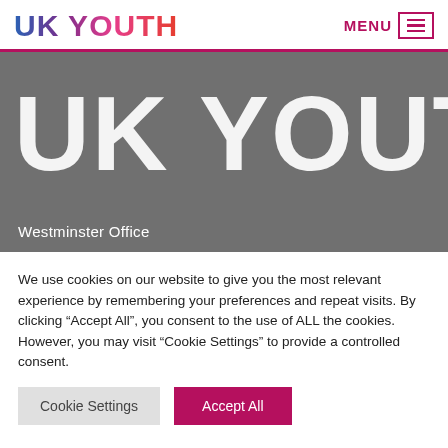UK YOUTH   MENU
[Figure (logo): UK Youth logo displayed large in white on grey hero banner background]
Westminster Office
We use cookies on our website to give you the most relevant experience by remembering your preferences and repeat visits. By clicking “Accept All”, you consent to the use of ALL the cookies. However, you may visit “Cookie Settings” to provide a controlled consent.
Cookie Settings   Accept All